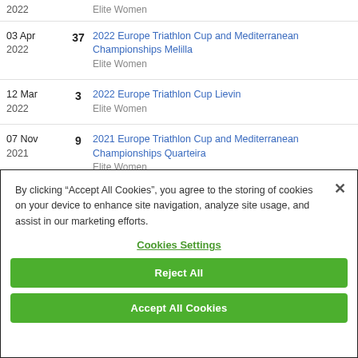| Date | Rank | Event |
| --- | --- | --- |
| 2022 |  | Elite Women |
| 03 Apr
2022 | 37 | 2022 Europe Triathlon Cup and Mediterranean Championships Melilla
Elite Women |
| 12 Mar
2022 | 3 | 2022 Europe Triathlon Cup Lievin
Elite Women |
| 07 Nov
2021 | 9 | 2021 Europe Triathlon Cup and Mediterranean Championships Quarteira
Elite Women |
By clicking “Accept All Cookies”, you agree to the storing of cookies on your device to enhance site navigation, analyze site usage, and assist in our marketing efforts.
Cookies Settings
Reject All
Accept All Cookies